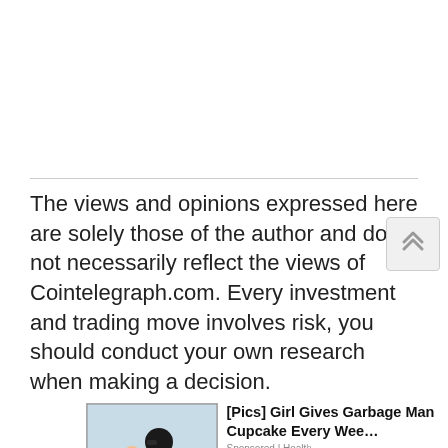The views and opinions expressed here are solely those of the author and do not necessarily reflect the views of Cointelegraph.com. Every investment and trading move involves risk, you should conduct your own research when making a decision.
[Figure (photo): Advertisement photo showing a man and a young girl, with ad text '[Pics] Girl Gives Garbage Man Cupcake Every Wee...' and 'Sponsored | HealthyNo ratings yet' with star ratings]
Rate
( No ratings yet )